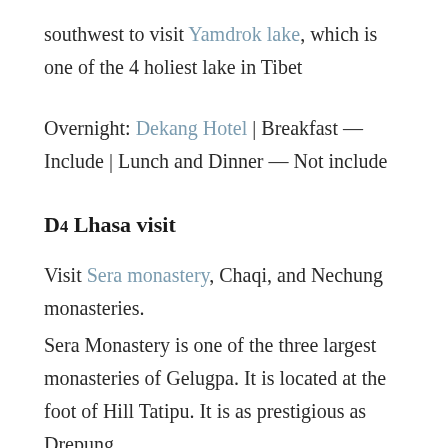southwest to visit Yamdrok lake, which is one of the 4 holiest lake in Tibet
Overnight: Dekang Hotel | Breakfast — Include | Lunch and Dinner — Not include
D4 Lhasa visit
Visit Sera monastery, Chaqi, and Nechung monasteries.
Sera Monastery is one of the three largest monasteries of Gelugpa. It is located at the foot of Hill Tatipu. It is as prestigious as Drepung